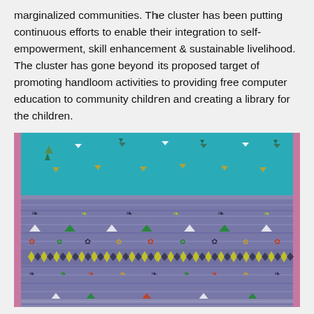marginalized communities. The cluster has been putting continuous efforts to enable their integration to self-empowerment, skill enhancement & sustainable livelihood. The cluster has gone beyond its proposed target of promoting handloom activities to providing free computer education to community children and creating a library for the children.
[Figure (photo): A handloom woven fabric (saree/textile) displayed by a person, showing intricate patterns including a teal/turquoise upper section with small decorative motifs, and a blue-purple lower section with multiple rows of colorful woven designs including floral and geometric patterns in orange, green, yellow, and dark colors, with a pink border on the sides.]